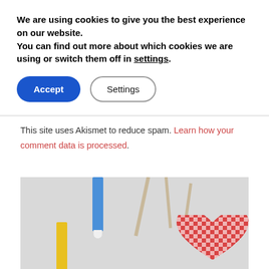We are using cookies to give you the best experience on our website.
You can find out more about which cookies we are using or switch them off in settings.
This site uses Akismet to reduce spam. Learn how your comment data is processed.
[Figure (photo): Photo showing colored pencils (blue and yellow) and toothpicks alongside a red and white gingham checkered heart shape on a light gray background]